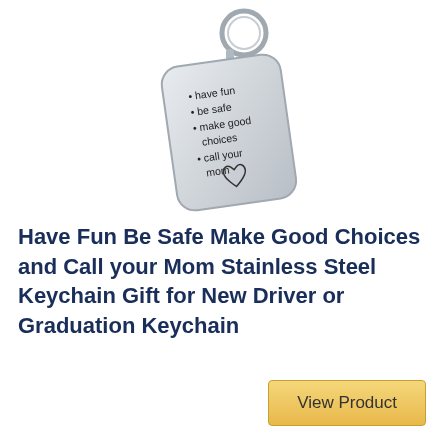[Figure (photo): A stainless steel dog tag keychain with a silver key ring. The tag is engraved with bullet points: 'have fun', 'be safe', 'make good choices', 'call your mom', and a heart symbol at the bottom.]
Have Fun Be Safe Make Good Choices and Call your Mom Stainless Steel Keychain Gift for New Driver or Graduation Keychain
View Product